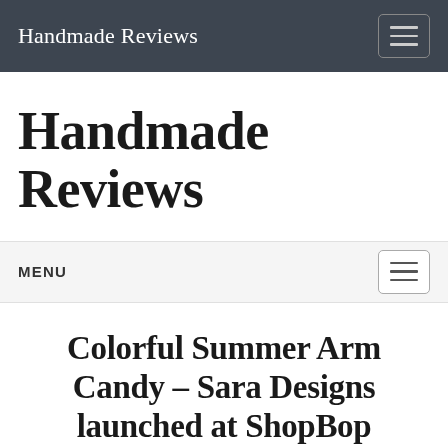Handmade Reviews
Handmade Reviews
MENU
Colorful Summer Arm Candy - Sara Designs launched at ShopBop